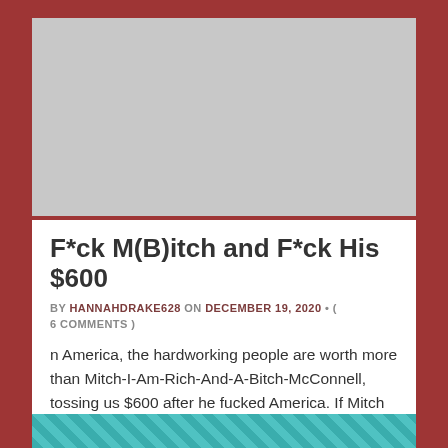[Figure (photo): Gray placeholder image area at the top of a blog post card]
F*ck M(B)itch and F*ck His $600
BY HANNAHDRAKE628 ON DECEMBER 19, 2020 • ( 6 COMMENTS )
n America, the hardworking people are worth more than Mitch-I-Am-Rich-And-A-Bitch-McConnell, tossing us $600 after he fucked America. If Mitch is going to fuck us, KNOW we are worth much more for our services.
[Figure (photo): Partial photo visible at the bottom of the page, appears to show teal/turquoise colored subject]